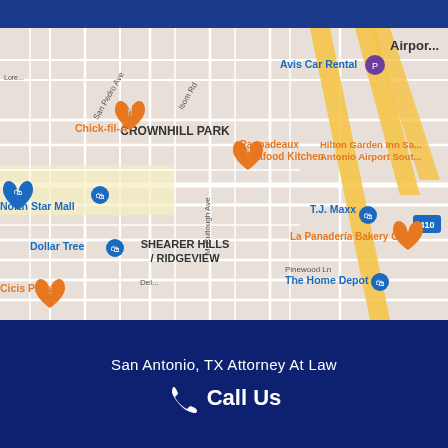[Figure (map): Google Maps view showing San Antonio, TX area with landmarks including Crownhill Park, North Star Mall, Chick-fil-A, Pappadeaux Seafood Kitchen, Hilton Garden Inn San Antonio Airport South, T.J. Maxx, Dollar Tree, La Panaderia Bakery Café, Shearer Hills/Ridgeview neighborhood, Pinewood Ln, Cicis Pizza, The Home Depot, Avis Car Rental, and highway 410.]
San Antonio, TX Attorney At Law
Call Us